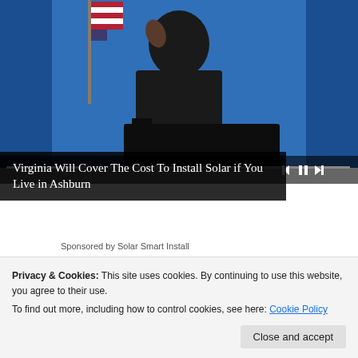[Figure (photo): Video player showing a person at a podium with American flag, blue curtain background. Video player controls bar at bottom with progress track and playback buttons.]
Virginia Will Cover The Cost To Install Solar if You Live in Ashburn
Sponsored by Solar Smart Install
[Figure (photo): Camp Lejeune Toxic Water Lawsuit advertisement image with yellow text on dark background showing caduceus symbol]
Camp Lejeune Water Contamination Claims
TruLaw
Privacy & Cookies: This site uses cookies. By continuing to use this website, you agree to their use.
To find out more, including how to control cookies, see here: Cookie Policy
Close and accept